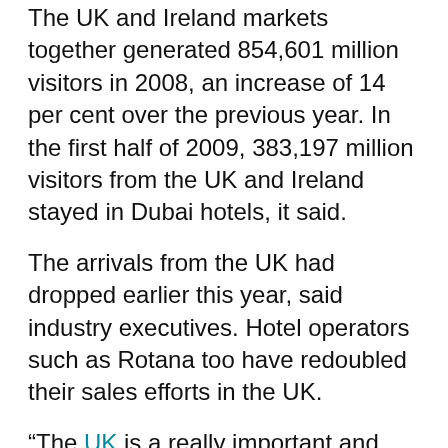The UK and Ireland markets together generated 854,601 million visitors in 2008, an increase of 14 per cent over the previous year. In the first half of 2009, 383,197 million visitors from the UK and Ireland stayed in Dubai hotels, it said.
The arrivals from the UK had dropped earlier this year, said industry executives. Hotel operators such as Rotana too have redoubled their sales efforts in the UK.
“The UK is a really important and year-round feeder market for Dubai, so we have increased our promotions there,” Naeem Darkazally, Area Director – Sales and Marketing for Rotana Dubai and Northern Emirates told Emirates Business.
Hotels are also running a number of promotions